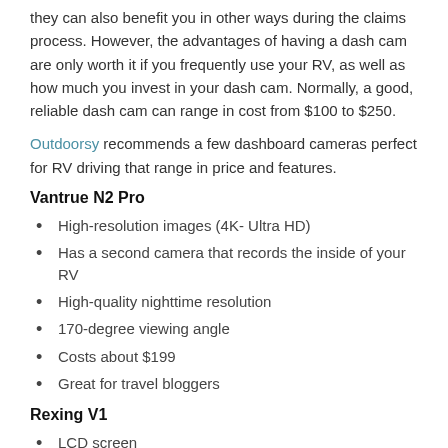they can also benefit you in other ways during the claims process. However, the advantages of having a dash cam are only worth it if you frequently use your RV, as well as how much you invest in your dash cam. Normally, a good, reliable dash cam can range in cost from $100 to $250.
Outdoorsy recommends a few dashboard cameras perfect for RV driving that range in price and features.
Vantrue N2 Pro
High-resolution images (4K- Ultra HD)
Has a second camera that records the inside of your RV
High-quality nighttime resolution
170-degree viewing angle
Costs about $199
Great for travel bloggers
Rexing V1
LCD screen
WiFi
170-degree wide-angle
Loop recording
Mobil…